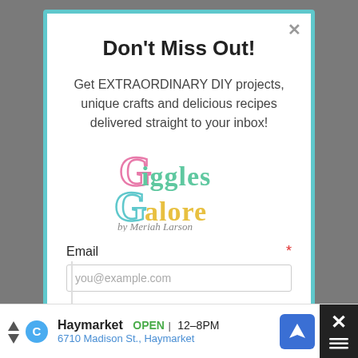Don't Miss Out!
Get EXTRAORDINARY DIY projects, unique crafts and delicious recipes delivered straight to your inbox!
[Figure (logo): Giggles Galore by Meriah Larson logo with colorful lettering]
Email *
you@example.com
Haymarket  OPEN  12–8PM  6710 Madison St., Haymarket